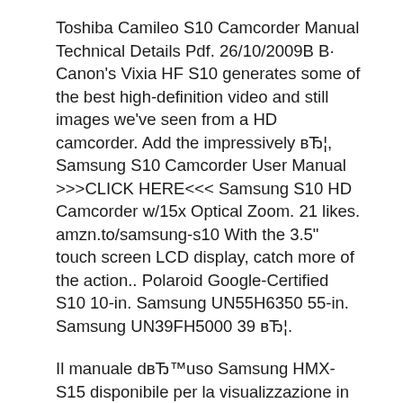Toshiba Camileo S10 Camcorder Manual Technical Details Pdf. 26/10/2009В В· Canon's Vixia HF S10 generates some of the best high-definition video and still images we've seen from a HD camcorder. Add the impressively вЂ¦, Samsung S10 Camcorder User Manual >>>CLICK HERE<<< Samsung S10 HD Camcorder w/15x Optical Zoom. 21 likes. amzn.to/samsung-s10 With the 3.5" touch screen LCD display, catch more of the action.. Polaroid Google-Certified S10 10-in. Samsung UN55H6350 55-in. Samsung UN39FH5000 39 вЂ¦.
Il manuale dвЂ™uso Samsung HMX-S15 disponibile per la visualizzazione in